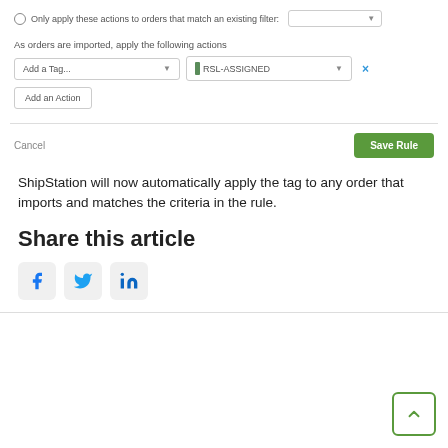[Figure (screenshot): UI form row: radio button with label 'Only apply these actions to orders that match an existing filter:' and a dropdown selector]
As orders are imported, apply the following actions
[Figure (screenshot): UI form row with two dropdowns: 'Add a Tag...' and 'RSL-ASSIGNED', plus an X button]
[Figure (screenshot): UI button labeled 'Add an Action']
[Figure (screenshot): UI row with Cancel link and green Save Rule button]
ShipStation will now automatically apply the tag to any order that imports and matches the criteria in the rule.
Share this article
[Figure (infographic): Three social sharing icon buttons: Facebook, Twitter, LinkedIn]